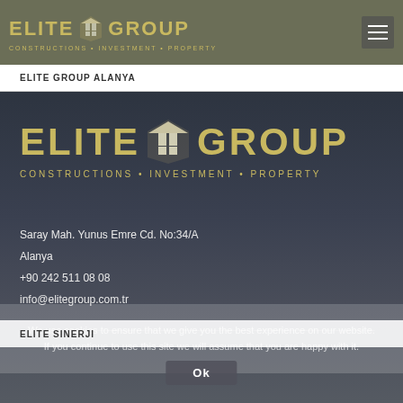[Figure (logo): Elite Group logo with golden text and building icon, tagline: CONSTRUCTIONS • INVESTMENT • PROPERTY]
ELITE GROUP ALANYA
[Figure (logo): Large Elite Group logo with golden text, building icon center, tagline: CONSTRUCTIONS • INVESTMENT • PROPERTY]
Saray Mah. Yunus Emre Cd. No:34/A
Alanya
+90 242 511 08 08
info@elitegroup.com.tr
We use cookies to ensure that we give you the best experience on our website. If you continue to use this site we will assume that you are happy with it.
ELITE SINERJI
Ok